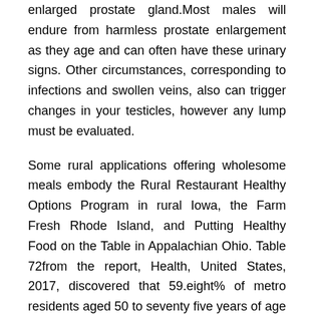enlarged prostate gland.Most males will endure from harmless prostate enlargement as they age and can often have these urinary signs. Other circumstances, corresponding to infections and swollen veins, also can trigger changes in your testicles, however any lump must be evaluated.
Some rural applications offering wholesome meals embody the Rural Restaurant Healthy Options Program in rural Iowa, the Farm Fresh Rhode Island, and Putting Healthy Food on the Table in Appalachian Ohio. Table 72from the report, Health, United States, 2017, discovered that 59.eight% of metro residents aged 50 to seventy five years of age had a colonoscopy in 2015, compared to fifty six.5% of their nonmetro counterparts. A 2017 MMWR article, Health-Related Behaviors by Urban-Rural County Classification — United States, 2013, discusses how rural residents have a lower prevalence of a number